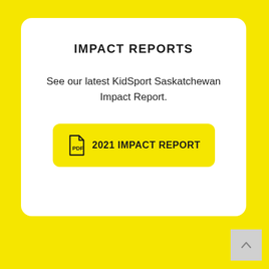IMPACT REPORTS
See our latest KidSport Saskatchewan Impact Report.
[Figure (other): Yellow button with PDF icon and label '2021 IMPACT REPORT']